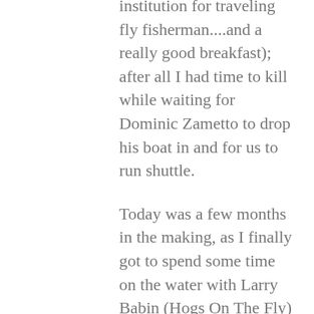institution for traveling fly fisherman....and a really good breakfast); after all I had time to kill while waiting for Dominic Zametto to drop his boat in and for us to run shuttle.
Today was a few months in the making, as I finally got to spend some time on the water with Larry Babin (Hogs On The Fly) and Dominic Zametto (Two Rivers Fly Shop) in Dominic's Boulder Boat Works drifter.  Chance Maxville and Corey Dodson from the Chasin' The Dream Blog floated the same stretch, in Chance's skiff.  Words can't even describe the stories told in the boat with Larry Babin (Hogs On The Fly) and Dominic Zametto